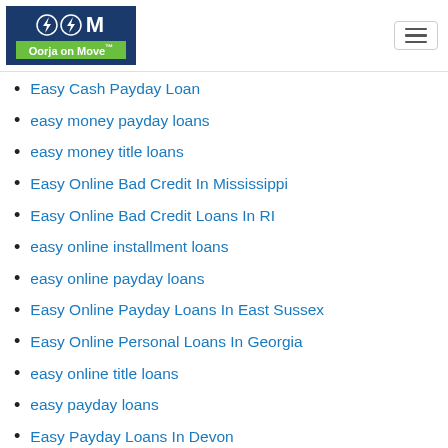Oorja on Move™
Easy Cash Payday Loan
easy money payday loans
easy money title loans
Easy Online Bad Credit In Mississippi
Easy Online Bad Credit Loans In RI
easy online installment loans
easy online payday loans
Easy Online Payday Loans In East Sussex
Easy Online Personal Loans In Georgia
easy online title loans
easy payday loans
Easy Payday Loans In Devon
Easy Payday Loans In North Yorkshire
Easy Payday Loans In Staffordshire
easy payday loans near me
easy payday loans online